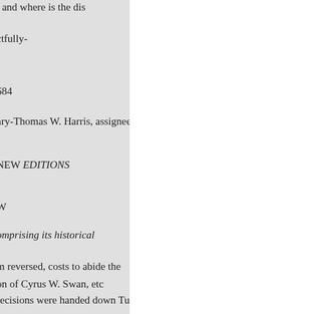t and where is the dis
ctfully-
684
ary-Thomas W. Harris, assignee,
NEW EDITIONS
W
omprising its historical
m reversed, costs to abide the
on of Cyrus W. Swan, etc
ecisions were handed down Tues
e day of contemptuous treatment
0, 1884. to the age of